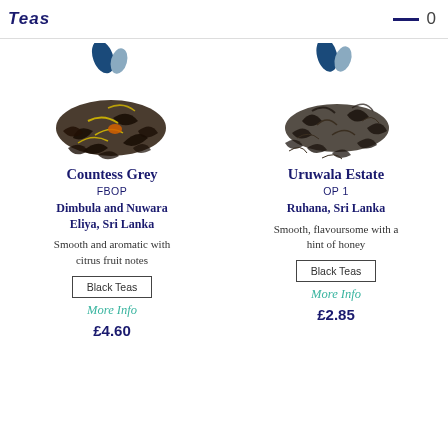Teas  0
[Figure (photo): Loose leaf Countess Grey tea with yellow flower petals and orange bergamot pieces, with blue and grey leaf logo above]
Countess Grey
FBOP
Dimbula and Nuwara Eliya, Sri Lanka
Smooth and aromatic with citrus fruit notes
Black Teas
More Info
£4.60
[Figure (photo): Loose leaf Uruwala Estate tea, dark twisted leaves, with blue and grey leaf logo above]
Uruwala Estate
OP 1
Ruhana, Sri Lanka
Smooth, flavoursome with a hint of honey
Black Teas
More Info
£2.85